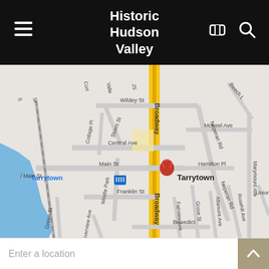Historic Hudson Valley
[Figure (map): Google Maps screenshot showing Tarrytown, NY with a red location pin on Main St/Broadway intersection. Streets visible include Broadway, Main St, Central Ave, Franklin St, Wildey St, Storm St, Neperan Rd, Hamilton Pl, McKeel Ave, Grove St, Altamont Ave, Rosehill Ave, Fairview Ave, Benedict Ave, Marymount Ave, Windle Park, Riverview Ave, Green St, Cottage Pl, Beech Lane, Union Ave. A blue water body is visible on the west side. Tarrytown train station icon is shown.]
Enter a location